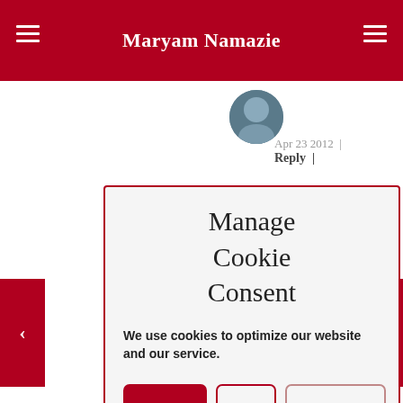Maryam Namazie
Apr 23 2012 | Reply |
Manage Cookie Consent
We use cookies to optimize our website and our service.
Accept | Deny | Preferences
anti-fascism, which is only interested in opposing its 'own' fascists